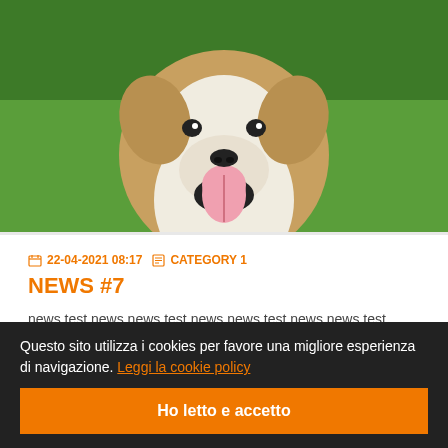[Figure (photo): A dog (Bull Terrier or similar breed) photographed from above, mouth open with tongue out, against a green grass background]
22-04-2021 08:17   CATEGORY 1
NEWS #7
news test news news test news news test news news test news news test news news test news news test news news test news news test news news test news news test news news test news…
Questo sito utilizza i cookies per favore una migliore esperienza di navigazione. Leggi la cookie policy
Ho letto e accetto